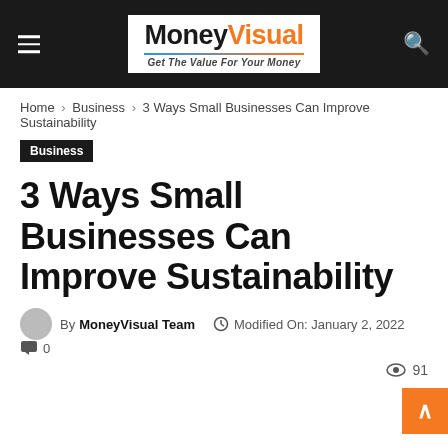MoneyVisual — Get The Value For Your Money
Home › Business › 3 Ways Small Businesses Can Improve Sustainability
Business
3 Ways Small Businesses Can Improve Sustainability
By MoneyVisual Team  Modified On: January 2, 2022  0  91